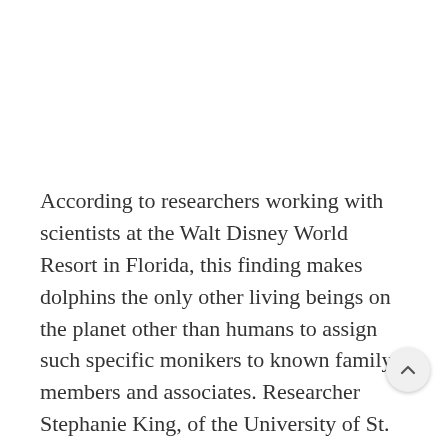According to researchers working with scientists at the Walt Disney World Resort in Florida, this finding makes dolphins the only other living beings on the planet other than humans to assign such specific monikers to known family members and associates. Researcher Stephanie King, of the University of St. Andrews Sea Mammal Research Unit, said, “animals produced copies [of sounds] when they were separated from a close associate and this supports our belief that dolphins copy another animal’s signature whistle when they